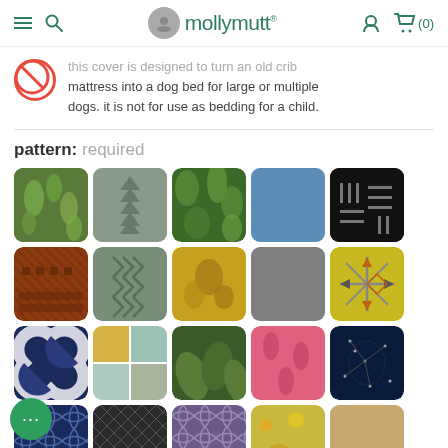mollymutt. (0)
this cover is designed to turn an old crib mattress into a dog bed for large or multiple dogs. it is not for use as bedding for a child.
pattern: required
[Figure (illustration): Grid of fabric pattern swatches for selection: botanical green, geometric gray, tropical green, solid blue, dark tally marks, brown tribal, gray chevron, golden animal print, solid gray, arrows crossbow, navy diamond, plaid, dark pine, pink fox, navy constellation, navy moroccan tile, dark geometric, purple moroccan, floral, tan solid]